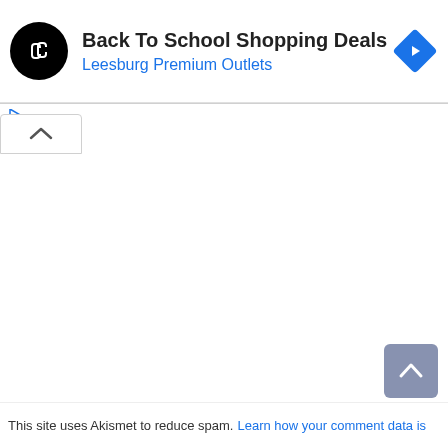[Figure (screenshot): Advertisement banner with black circular logo with white chain-link icon, title 'Back To School Shopping Deals', subtitle 'Leesburg Premium Outlets', and blue diamond navigation icon on the right]
[Figure (screenshot): UI element: small play triangle and X icons for ad controls on left side]
[Figure (screenshot): A collapsed white tab with chevron-up (^) indicator]
[Figure (screenshot): Blue-grey scroll-to-top button with chevron-up arrow in bottom right corner]
This site uses Akismet to reduce spam. Learn how your comment data is